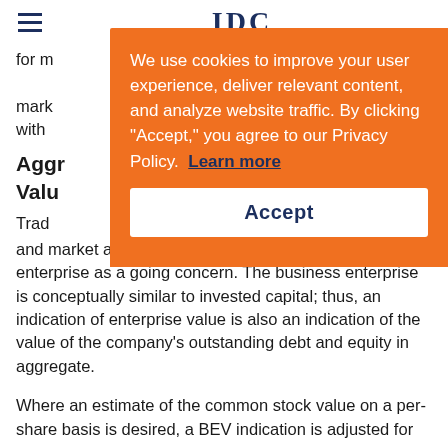IDC (logo/header)
for market approaches, are used to value a business enterprise as a going concern. The business enterprise is conceptually similar to invested capital; thus, an indication of enterprise value is also an indication of the value of the company's outstanding debt and equity in aggregate.
Aggregate Business Enterprise Value (BEV)
Traditional valuation approaches, including income and market approaches, are used to value a business enterprise as a going concern. The business enterprise is conceptually similar to invested capital; thus, an indication of enterprise value is also an indication of the value of the company's outstanding debt and equity in aggregate.
Where an estimate of the common stock value on a per-share basis is desired, a BEV indication is adjusted for
We use cookies to improve your user experience, deliver relevant content, and analyze website traffic. By clicking "Accept," you agree to our Privacy Policy. Learn more
Accept